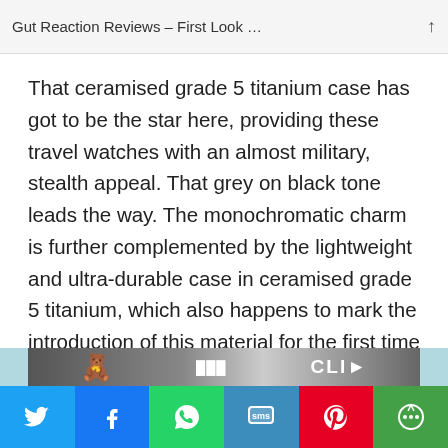Gut Reaction Reviews – First Look …
That ceramised grade 5 titanium case has got to be the star here, providing these travel watches with an almost military, stealth appeal. That grey on black tone leads the way. The monochromatic charm is further complemented by the lightweight and ultra-durable case in ceramised grade 5 titanium, which also happens to mark the introduction of this material for the first time in the world of travel watches.
[Figure (screenshot): Social share bar with Twitter, Facebook, WhatsApp, SMS, Pinterest, and More buttons]